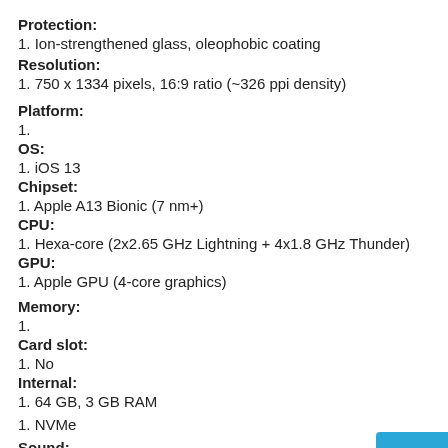Protection:
1. Ion-strengthened glass, oleophobic coating
Resolution:
1. 750 x 1334 pixels, 16:9 ratio (~326 ppi density)
Platform:
1.
OS:
1. iOS 13
Chipset:
1. Apple A13 Bionic (7 nm+)
CPU:
1. Hexa-core (2x2.65 GHz Lightning + 4x1.8 GHz Thunder)
GPU:
1. Apple GPU (4-core graphics)
Memory:
1.
Card slot:
1. No
Internal:
1. 64 GB, 3 GB RAM
1. NVMe
Sound:
1.
Loudspeaker: